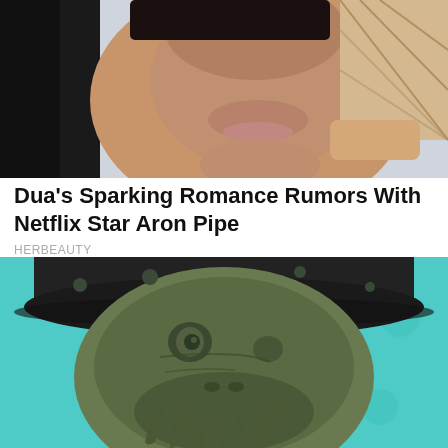[Figure (photo): Close-up photo of a young woman with long dark hair, looking upward, holding an ice cream cone with gold-painted fingers. Background shows a lit interior space.]
Dua's Sparking Romance Rumors With Netflix Star Aron Pipe
HERBEAUTY
[Figure (photo): Close-up photo of Davy Jones character from Pirates of the Caribbean — a tentacled sea-creature face with blue-green skin tones, wearing a dark pirate hat. Teal/aqua background.]